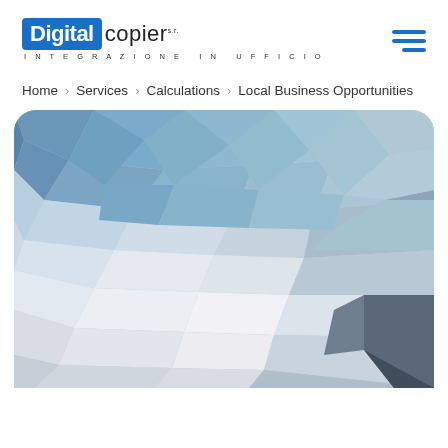[Figure (logo): Digital Copier logo with blue boxed 'Digital' text and 'copier' in dark, with tagline 'INTEGRAZIONE IN UFFICIO']
Home > Services > Calculations > Local Business Opportunities
[Figure (illustration): Low-poly geometric mosaic background image with blue, grey, and white polygon shapes, displayed in a rounded rectangle card]